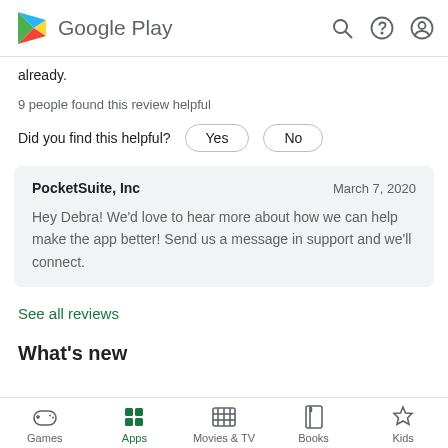Google Play
already.
9 people found this review helpful
Did you find this helpful?  Yes  No
PocketSuite, Inc    March 7, 2020
Hey Debra! We'd love to hear more about how we can help make the app better! Send us a message in support and we'll connect.
See all reviews
What's new
Games  Apps  Movies & TV  Books  Kids